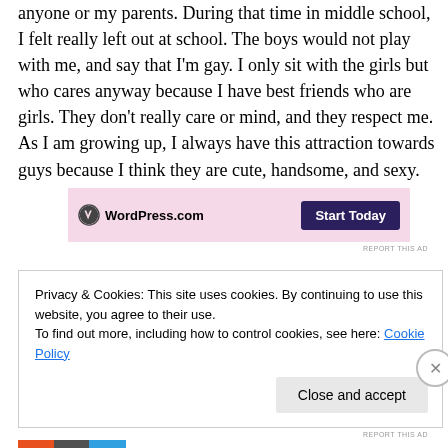anyone or my parents. During that time in middle school, I felt really left out at school. The boys would not play with me, and say that I'm gay. I only sit with the girls but who cares anyway because I have best friends who are girls. They don't really care or mind, and they respect me. As I am growing up, I always have this attraction towards guys because I think they are cute, handsome, and sexy.
[Figure (other): WordPress.com advertisement banner with pink background, WordPress logo on left, and purple 'Start Today' button on right]
REPORT THIS AD
Privacy & Cookies: This site uses cookies. By continuing to use this website, you agree to their use.
To find out more, including how to control cookies, see here: Cookie Policy